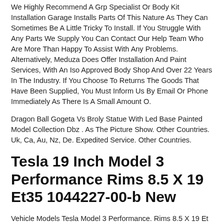We Highly Recommend A Grp Specialist Or Body Kit Installation Garage Installs Parts Of This Nature As They Can Sometimes Be A Little Tricky To Install. If You Struggle With Any Parts We Supply You Can Contact Our Help Team Who Are More Than Happy To Assist With Any Problems. Alternatively, Meduza Does Offer Installation And Paint Services, With An Iso Approved Body Shop And Over 22 Years In The Industry. If You Choose To Returns The Goods That Have Been Supplied, You Must Inform Us By Email Or Phone Immediately As There Is A Small Amount O.
Dragon Ball Gogeta Vs Broly Statue With Led Base Painted Model Collection Dbz . As The Picture Show. Other Countries. Uk, Ca, Au, Nz, De. Expedited Service. Other Countries.
Tesla 19 Inch Model 3 Performance Rims 8.5 X 19 Et35 1044227-00-b New
Vehicle Models Tesla Model 3 Performance. Rims 8.5 X 19 Et 35. Condition The Rims Are New And May Show Minimal Signs Of Storage.straight From A New Vehicle, See Photos. No Problem! Here